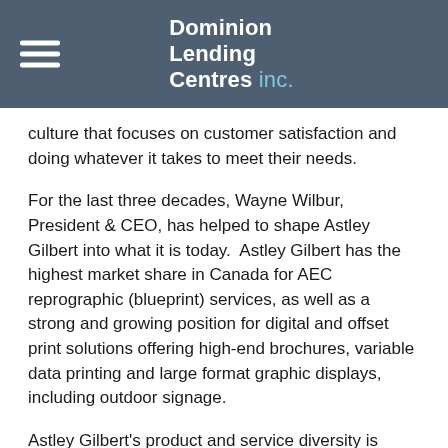Dominion Lending Centres inc.
culture that focuses on customer satisfaction and doing whatever it takes to meet their needs.
For the last three decades, Wayne Wilbur, President & CEO, has helped to shape Astley Gilbert into what it is today.  Astley Gilbert has the highest market share in Canada for AEC reprographic (blueprint) services, as well as a strong and growing position for digital and offset print solutions offering high-end brochures, variable data printing and large format graphic displays, including outdoor signage.
Astley Gilbert's product and service diversity is expected to continue to expand in both value-add print solutions as well as non-print services. With multiple production facilities, over 70 radio-dispatched customer service vehicles across Ontario and global